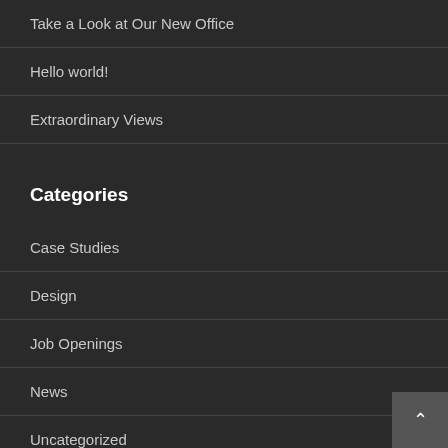Take a Look at Our New Office
Hello world!
Extraordinary Views
Categories
Case Studies
Design
Job Openings
News
Uncategorized